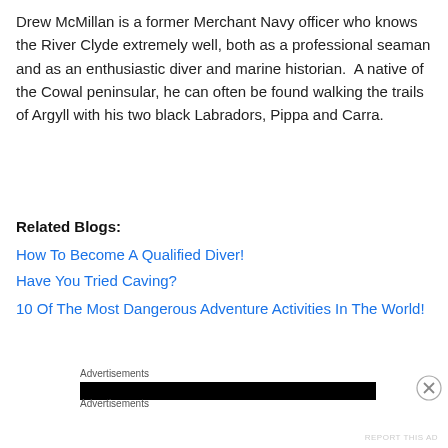Drew McMillan is a former Merchant Navy officer who knows the River Clyde extremely well, both as a professional seaman and as an enthusiastic diver and marine historian.  A native of the Cowal peninsular, he can often be found walking the trails of Argyll with his two black Labradors, Pippa and Carra.
Related Blogs:
How To Become A Qualified Diver!
Have You Tried Caving?
10 Of The Most Dangerous Adventure Activities In The World!
Advertisements
Advertisements